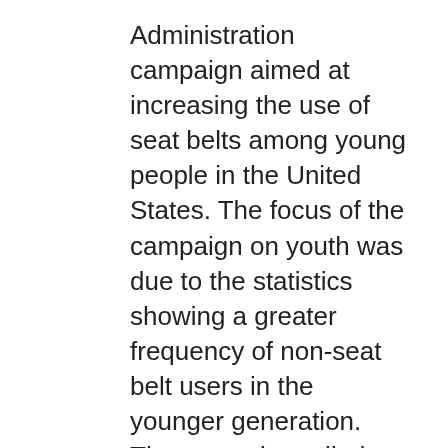Administration campaign aimed at increasing the use of seat belts among young people in the United States. The focus of the campaign on youth was due to the statistics showing a greater frequency of non-seat belt users in the younger generation. The campaign relied heavily on targeted advertising aimed at teens and young adults. The “Click it or Ticket” campaign has existed at the state level for many years. It began to appear in Massachusetts about the time seat belts were becoming mandatory.
Before 1980, only 11% of people in the United States used seat belts. New Hampshire had the historically lowest